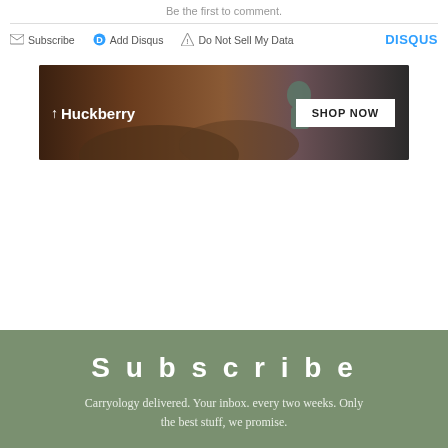Be the first to comment.
Subscribe  Add Disqus  Do Not Sell My Data  DISQUS
[Figure (other): Huckberry advertisement banner showing a man outdoors with text 'Huckberry' and a 'SHOP NOW' button]
Subscribe
Carryology delivered. Your inbox. every two weeks. Only the best stuff, we promise.